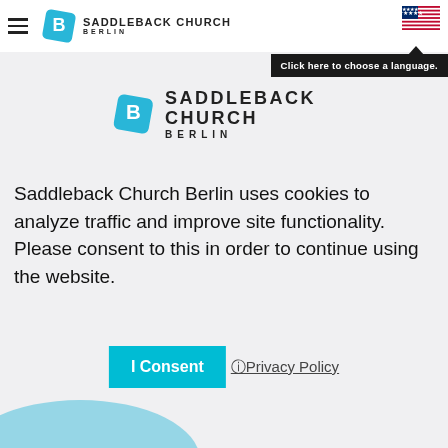[Figure (logo): Saddleback Church Berlin logo in navigation bar - blue diamond shape with 'B' and text SADDLEBACK CHURCH BERLIN]
[Figure (logo): US flag icon in top-right corner]
Click here to choose a language.
[Figure (logo): Saddleback Church Berlin centered logo - larger blue diamond with 'B' and text SADDLEBACK CHURCH BERLIN]
Saddleback Church Berlin uses cookies to analyze traffic and improve site functionality. Please consent to this in order to continue using the website.
I ConsentℹPrivacy Policy